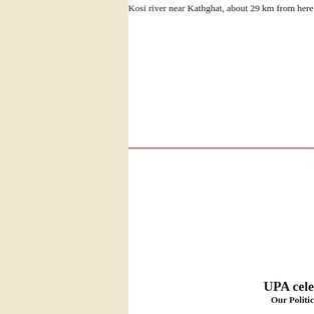Kosi river near Kathghat, about 29 km from here to
UPA cele
Our Politic